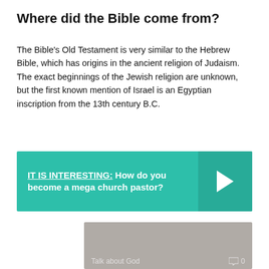Where did the Bible come from?
The Bible's Old Testament is very similar to the Hebrew Bible, which has origins in the ancient religion of Judaism. The exact beginnings of the Jewish religion are unknown, but the first known mention of Israel is an Egyptian inscription from the 13th century B.C.
IT IS INTERESTING:  How do you become a mega church pastor?
[Figure (screenshot): Gray image placeholder with 'Talk about God' label and comment count '0' at bottom]